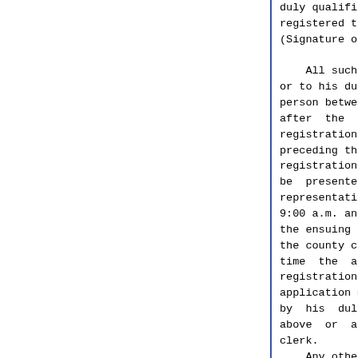duly qualified voter of said precinct, registered to vote in said precinct. (Signature of applicant) .......

    All such applications shall be made to or to his duly authorized representative in person between the hours of 9:00 a.m. and 5:00 p.m. after the days on which the last session of registrations are held but not later than the day preceding the ensuing general election, except the registration provided in Section ... which shall be presented to the county clerk or his duly authorized representative by the applicant in person between the hours of 9:00 a.m. and 5:00 p.m. on any day not later than the ensuing general election. Such application to the county clerk or his duly authorized representative at the time the application is presented, that the registration has registered within, or the application may be presented to a deputy appointed by his duly authorized representative as described above or at any time prior thereto to the county clerk.
    Any otherwise qualified person who by reason of residence either due to business or employment, or because he is temporarily outside the boundaries of the United States may become registered by applying to the county clerk within the period of time prescribed in this Article, or by simultaneously requesting registration by mail and vote by mail ballot as prescribed by this Code.